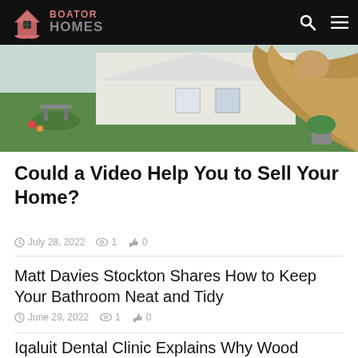BOATOR HOMES
[Figure (photo): Hero image showing a person raising their fist in front of a house with garden and patio furniture]
Could a Video Help You to Sell Your Home?
July 28, 2022  1  0
Matt Davies Stockton Shares How to Keep Your Bathroom Neat and Tidy
June 29, 2022  1  0
Iqaluit Dental Clinic Explains Why Wood Flooring Adds to The Elegance of Your Home